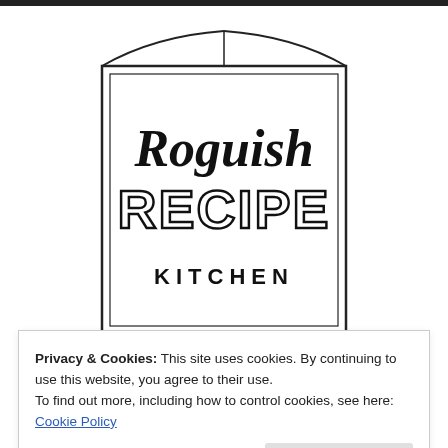[Figure (logo): Roguish Recipe Kitchen logo inside a rectangular border with stylized book-like curved top lines. 'Roguish' in cursive script, 'RECIPE' in bold outlined block letters, 'KITCHEN' in bold sans-serif caps.]
Privacy & Cookies: This site uses cookies. By continuing to use this website, you agree to their use.
To find out more, including how to control cookies, see here: Cookie Policy
Close and accept
All Things Cooking, Baking & More